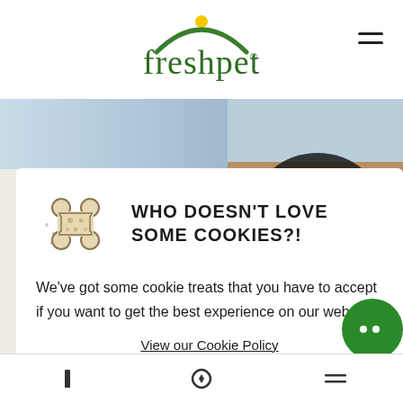[Figure (logo): Freshpet logo with green arc and yellow sun graphic above text]
[Figure (photo): Background photo of sky and beach scene on left, dog with person on right side]
WHO DOESN'T LOVE SOME COOKIES?!
We've got some cookie treats that you have to accept if you want to get the best experience on our website.
View our Cookie Policy
ACCEPT